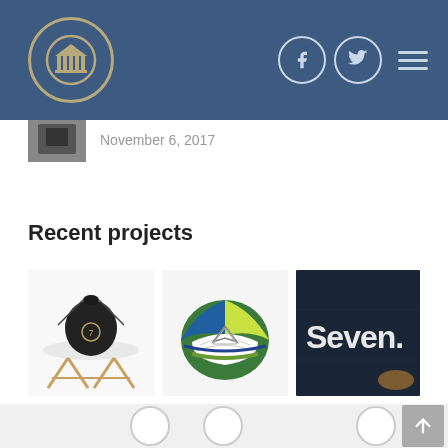Website header with logo, social icons (Facebook, Twitter), and hamburger menu
November 6, 2017
Recent projects
[Figure (photo): Black drawstring bag on white Eames chair]
[Figure (photo): Colorful green and blue helmet with geometric design]
[Figure (photo): Glossy dark surface with the word 'Seven.' in white letters]
Bottom navigation strip with circle icons and back-to-top button